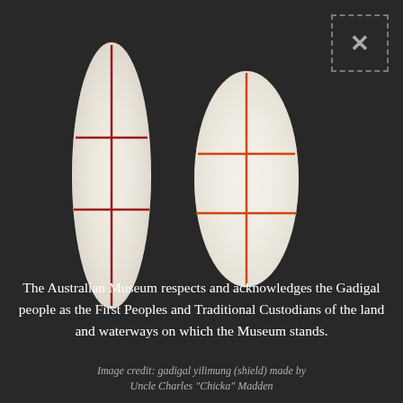[Figure (photo): Two elongated leaf/shield-shaped objects (gadigal yilimung shields) on a dark background. The left shield is taller and darker with deep red/crimson crossed lines (a vertical line and two horizontal lines forming a cross pattern). The right shield is slightly shorter and lighter in color with orange/red crossed lines in a similar pattern.]
The Australian Museum respects and acknowledges the Gadigal people as the First Peoples and Traditional Custodians of the land and waterways on which the Museum stands.
Image credit: gadigal yilimung (shield) made by Uncle Charles "Chicka" Madden